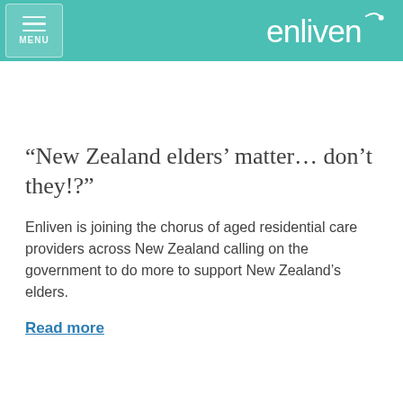MENU | enliven
“New Zealand elders’ matter… don’t they!?”
Enliven is joining the chorus of aged residential care providers across New Zealand calling on the government to do more to support New Zealand’s elders.
Read more